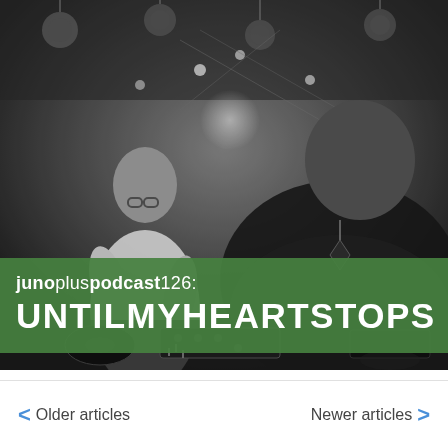[Figure (photo): Black and white photo of two DJs performing at turntables in a club setting with hanging face masks and lights in the background. One DJ wears a white t-shirt and glasses, the other wears a dark t-shirt with a geometric pendant necklace.]
junopluspodcast126: UNTILMYHEARTSTOPS
< Older articles
Newer articles >